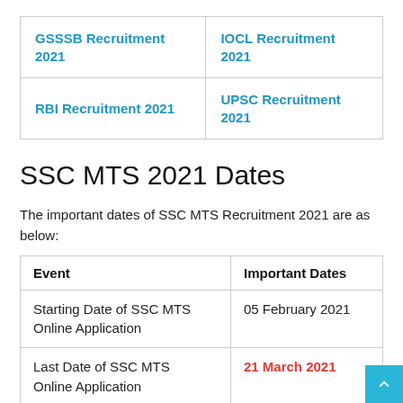| GSSSB Recruitment 2021 | IOCL Recruitment 2021 |
| RBI Recruitment 2021 | UPSC Recruitment 2021 |
SSC MTS 2021 Dates
The important dates of SSC MTS Recruitment 2021 are as below:
| Event | Important Dates |
| --- | --- |
| Starting Date of SSC MTS Online Application | 05 February 2021 |
| Last Date of SSC MTS Online Application | 21 March 2021 |